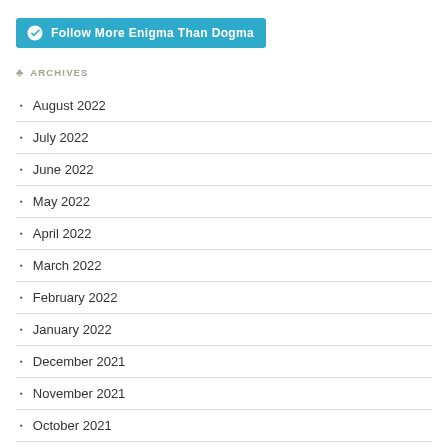[Figure (other): WordPress Follow button with cyan background reading 'Follow More Enigma Than Dogma']
ARCHIVES
August 2022
July 2022
June 2022
May 2022
April 2022
March 2022
February 2022
January 2022
December 2021
November 2021
October 2021
September 2021